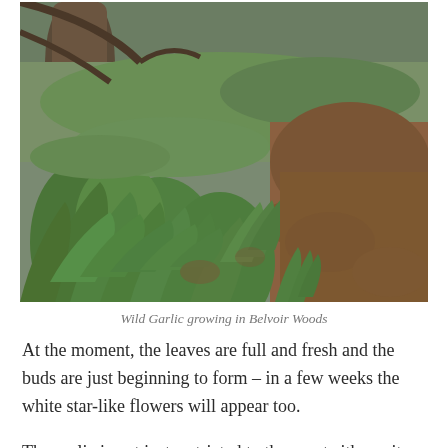[Figure (photo): Wide-angle outdoor photograph of wild garlic plants growing densely in Belvoir Woods. The foreground shows large green leaves covering the forest floor, with brown leaf litter and soil visible between patches. A large tree trunk is visible in the background on the left, with more woodland visible behind.]
Wild Garlic growing in Belvoir Woods
At the moment, the leaves are full and fresh and the buds are just beginning to form – in a few weeks the white star-like flowers will appear too.
The garlic is not just restricted to the scent either – it can